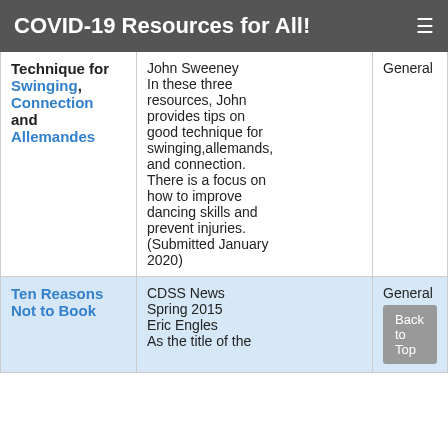COVID-19 Resources for All!
| Resource | Description | Category |
| --- | --- | --- |
| Technique for Swinging, Connection and Allemandes | John Sweeney
In these three resources, John provides tips on good technique for swinging,allemands, and connection. There is a focus on how to improve dancing skills and prevent injuries. (Submitted January 2020) | General |
| Ten Reasons Not to Book | CDSS News Spring 2015
Eric Engles
As the title of the | General |